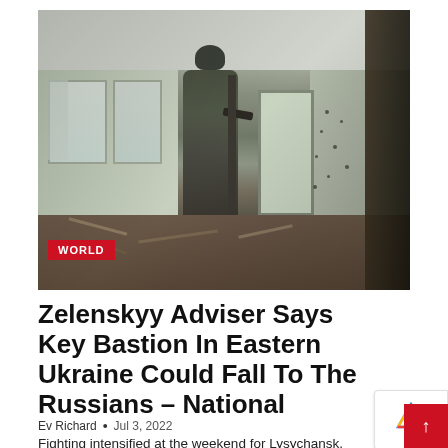[Figure (photo): A soldier in camouflage uniform and helmet stands inside a damaged, debris-strewn building interior, peering around a structural column. The walls show bullet holes and the floor is covered in rubble.]
WORLD
Zelenskyy Adviser Says Key Bastion In Eastern Ukraine Could Fall To The Russians – National
Ev Richard  •  Jul 3, 2022
Fighting intensified at the weekend for Lysychansk, Ukraine